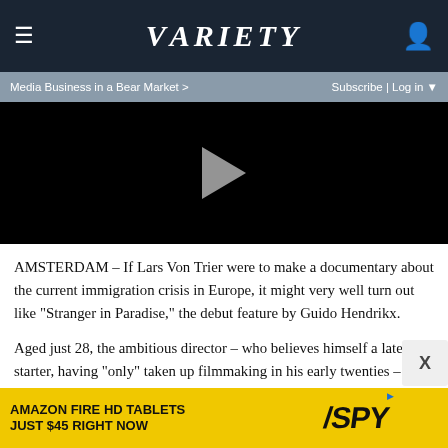VARIETY
Media Business in a Bear Market > | Subscribe | Log in
[Figure (screenshot): Black video player with a grey play button triangle in the center]
AMSTERDAM – If Lars Von Trier were to make a documentary about the current immigration crisis in Europe, it might very well turn out like “Stranger in Paradise,” the debut feature by Guido Hendrikx.
Aged just 28, the ambitious director – who believes himself a late-starter, having “only” taken up filmmaking in his early twenties – is already committed to thorny issues, as evidence
[Figure (infographic): Amazon Fire HD Tablets advertisement: yellow background with text AMAZON FIRE HD TABLETS JUST $45 RIGHT NOW and SPY logo]